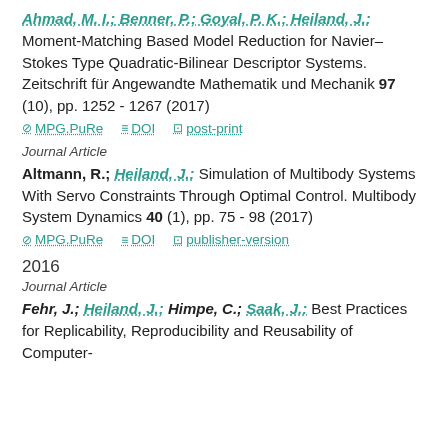Ahmad, M. I.; Benner, P.; Goyal, P. K.; Heiland, J.: Moment-Matching Based Model Reduction for Navier–Stokes Type Quadratic-Bilinear Descriptor Systems. Zeitschrift für Angewandte Mathematik und Mechanik 97 (10), pp. 1252 - 1267 (2017)
MPG.PuRe   DOI   post-print
Journal Article
Altmann, R.; Heiland, J.: Simulation of Multibody Systems With Servo Constraints Through Optimal Control. Multibody System Dynamics 40 (1), pp. 75 - 98 (2017)
MPG.PuRe   DOI   publisher-version
2016
Journal Article
Fehr, J.; Heiland, J.; Himpe, C.; Saak, J.: Best Practices for Replicability, Reproducibility and Reusability of Computer-